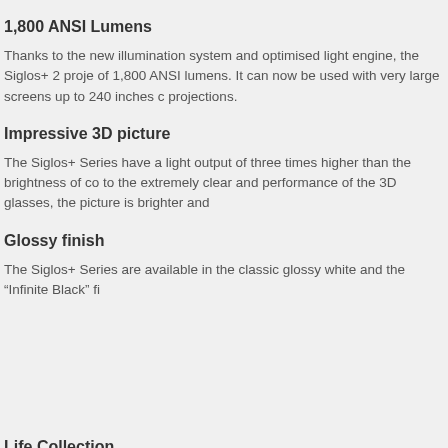1,800 ANSI Lumens
Thanks to the new illumination system and optimised light engine, the Siglos+ 2 proje of 1,800 ANSI lumens. It can now be used with very large screens up to 240 inches c projections.
Impressive 3D picture
The Siglos+ Series have a light output of three times higher than the brightness of co to the extremely clear and performance of the 3D glasses, the picture is brighter and
Glossy finish
The Siglos+ Series are available in the classic glossy white and the “Infinite Black” fi
Life Collection
The Siglos “Life Collection” has been created for the most audacious interior decorat